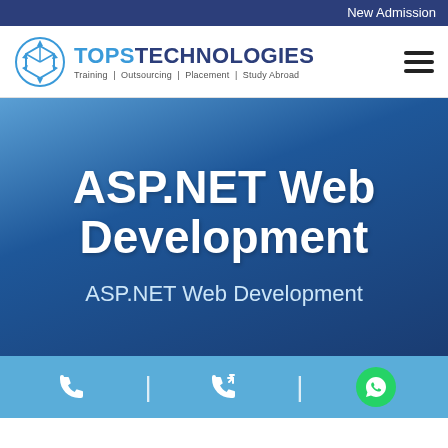New Admission
[Figure (logo): TOPS Technologies logo with cube icon, tagline: Training | Outsourcing | Placement | Study Abroad]
ASP.NET Web Development
ASP.NET Web Development
[Figure (infographic): Bottom call bar with phone icon, callback icon, and WhatsApp icon separated by dividers]